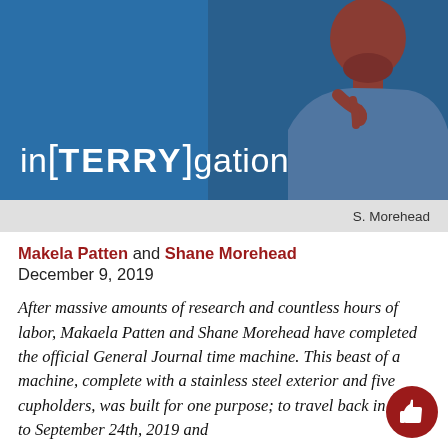[Figure (illustration): Banner image for 'in[TERRY]gation' podcast/show with blue background and a man with beard in thinking pose on the right side. Large white text reads 'in[TERRY]gation' on the lower left.]
S. Morehead
Makela Patten and Shane Morehead
December 9, 2019
After massive amounts of research and countless hours of labor, Makaela Patten and Shane Morehead have completed the official General Journal time machine. This beast of a machine, complete with a stainless steel exterior and five cupholders, was built for one purpose; to travel back in time to September 24th, 2019 and